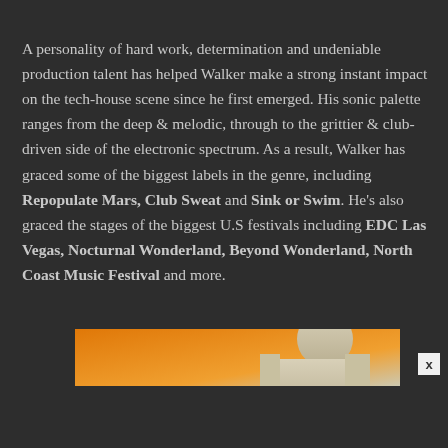A personality of hard work, determination and undeniable production talent has helped Walker make a strong instant impact on the tech-house scene since he first emerged. His sonic palette ranges from the deep & melodic, through to the grittier & club-driven side of the electronic spectrum. As a result, Walker has graced some of the biggest labels in the genre, including Repopulate Mars, Club Sweat and Sink or Swim. He's also graced the stages of the biggest U.S festivals including EDC Las Vegas, Nocturnal Wonderland, Beyond Wonderland, North Coast Music Festival and more.
[Figure (photo): Partial view of an image strip with orange background and a person visible, partially cut off at the bottom of the page. An X close button is visible in the top right corner of the image.]